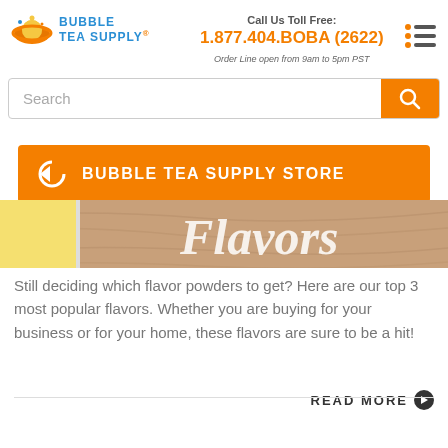[Figure (logo): Bubble Tea Supply logo with orange UFO/planet icon and blue text reading BUBBLE TEA SUPPLY]
Call Us Toll Free: 1.877.404.BOBA (2622) Order Line open from 9am to 5pm PST
[Figure (illustration): Hamburger menu icon with three horizontal lines and orange dots]
Search
BUBBLE TEA SUPPLY STORE
[Figure (photo): Wooden texture banner background with the word 'Flavors' in large white italic text overlaid, and a Bubble Tea Supply logo icon on the left]
Still deciding which flavor powders to get? Here are our top 3 most popular flavors. Whether you are buying for your business or for your home, these flavors are sure to be a hit!
READ MORE